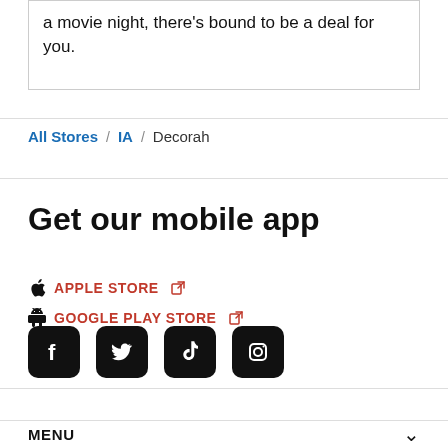a movie night, there's bound to be a deal for you.
All Stores / IA / Decorah
Get our mobile app
APPLE STORE
GOOGLE PLAY STORE
[Figure (other): Social media icon buttons: Facebook, Twitter, TikTok, Instagram — black rounded square icons]
MENU